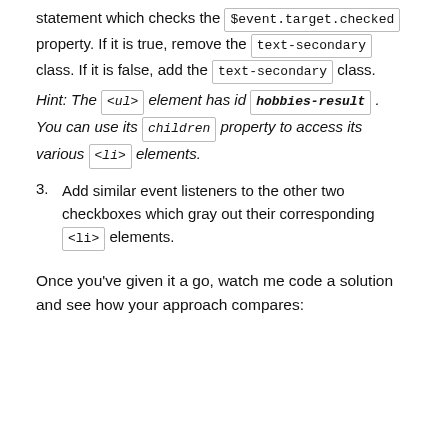statement which checks the $event.target.checked property. If it is true, remove the text-secondary class. If it is false, add the text-secondary class.
Hint: The <ul> element has id hobbies-result. You can use its children property to access its various <li> elements.
3. Add similar event listeners to the other two checkboxes which gray out their corresponding <li> elements.
Once you've given it a go, watch me code a solution and see how your approach compares: